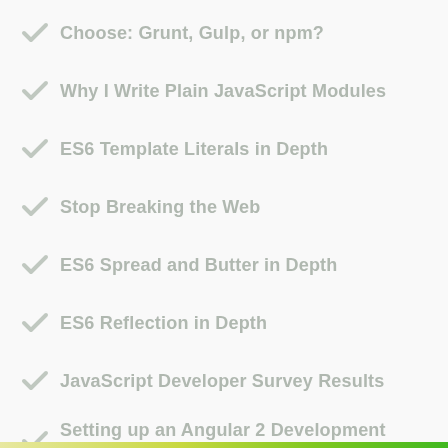Choose: Grunt, Gulp, or npm?
Why I Write Plain JavaScript Modules
ES6 Template Literals in Depth
Stop Breaking the Web
ES6 Spread and Butter in Depth
ES6 Reflection in Depth
JavaScript Developer Survey Results
Setting up an Angular 2 Development Environment
ES6 Maps in Depth